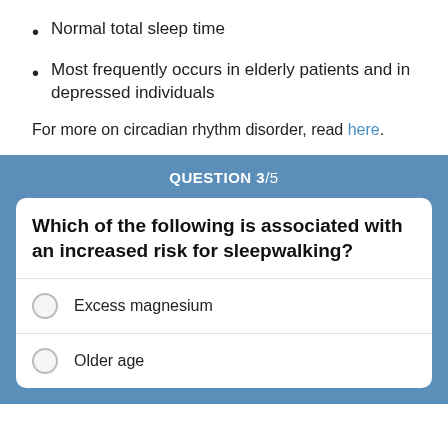Normal total sleep time
Most frequently occurs in elderly patients and in depressed individuals
For more on circadian rhythm disorder, read here.
QUESTION 3/5
Which of the following is associated with an increased risk for sleepwalking?
Excess magnesium
Older age